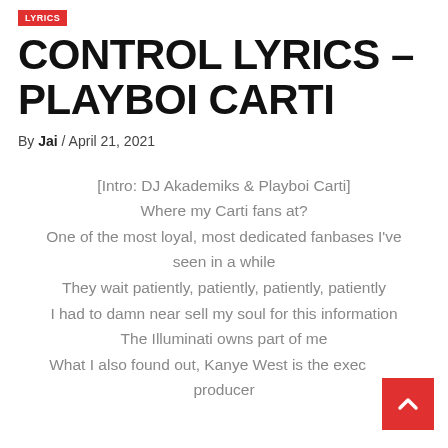LYRICS
CONTROL LYRICS – PLAYBOI CARTI
By Jai / April 21, 2021
[Intro: DJ Akademiks & Playboi Carti]
Where my Carti fans at?
One of the most loyal, most dedicated fanbases I've seen in a while
They wait patiently, patiently, patiently, patiently
I had to damn near sell my soul for this information
The Illuminati owns part of me
What I also found out, Kanye West is the executive producer